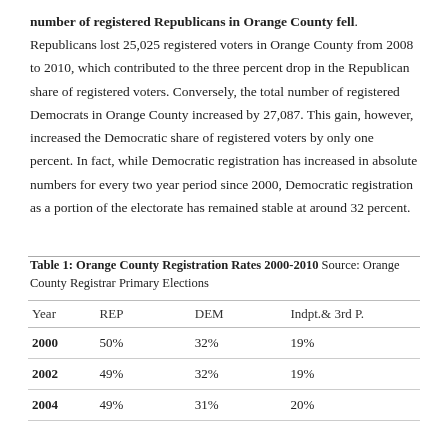number of registered Republicans in Orange County fell. Republicans lost 25,025 registered voters in Orange County from 2008 to 2010, which contributed to the three percent drop in the Republican share of registered voters. Conversely, the total number of registered Democrats in Orange County increased by 27,087. This gain, however, increased the Democratic share of registered voters by only one percent. In fact, while Democratic registration has increased in absolute numbers for every two year period since 2000, Democratic registration as a portion of the electorate has remained stable at around 32 percent.
Table 1: Orange County Registration Rates 2000-2010 Source: Orange County Registrar Primary Elections
| Year | REP | DEM | Indpt.& 3rd P. |
| --- | --- | --- | --- |
| 2000 | 50% | 32% | 19% |
| 2002 | 49% | 32% | 19% |
| 2004 | 49% | 31% | 20% |